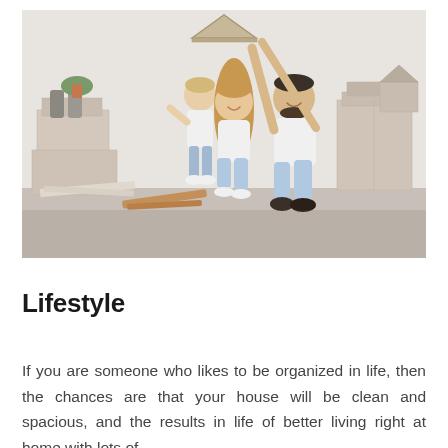[Figure (photo): A family of three — a mother, father, and young child — sitting on the floor surrounded by moving boxes. The parents are holding a cardboard roof shape over their heads, smiling. The child stands between them. Background shows cardboard boxes and a small potted plant.]
Lifestyle
If you are someone who likes to be organized in life, then the chances are that your house will be clean and spacious, and the results in life of better living right at home with lots of